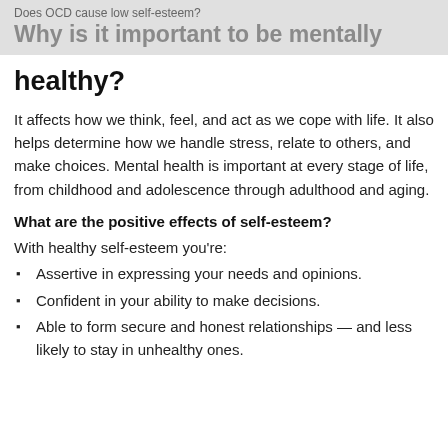Does OCD cause low self-esteem?
Why is it important to be mentally
Why is it important to be mentally healthy?
It affects how we think, feel, and act as we cope with life. It also helps determine how we handle stress, relate to others, and make choices. Mental health is important at every stage of life, from childhood and adolescence through adulthood and aging.
What are the positive effects of self-esteem?
With healthy self-esteem you're:
Assertive in expressing your needs and opinions.
Confident in your ability to make decisions.
Able to form secure and honest relationships — and less likely to stay in unhealthy ones.